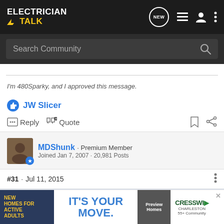[Figure (screenshot): Electrician Talk forum website header navigation bar with logo, search bar, and icons]
I'm 480Sparky, and I approved this message.
JW Slicer
Reply   Quote
MDShunk · Premium Member
Joined Jan 7, 2007 · 20,981 Posts
#31 · Jul 11, 2015
Bad E...
I learned
[Figure (screenshot): Join overlay with Facebook, Google, and email sign-in buttons plus advertisement banner for New Homes for Active Adults / Cresswind Charleston]